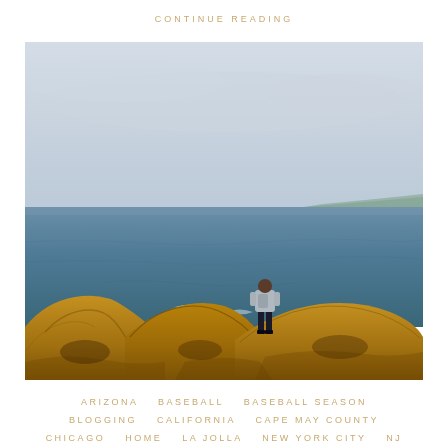CONTINUE READING
[Figure (photo): A person standing on rugged sandstone cliffs overlooking the Pacific Ocean on an overcast day. The figure faces away from the camera, looking out at the steel-blue ocean. Rocky, eroded golden-brown cliffs in the foreground, with a distant coastline visible on the horizon.]
ARIZONA   BASEBALL   BASEBALL SEASON   BLOGGING   CALIFORNIA   CAPE MAY COUNTY   CHICAGO   HOME   LA JOLLA   NEW YORK CITY   NJ